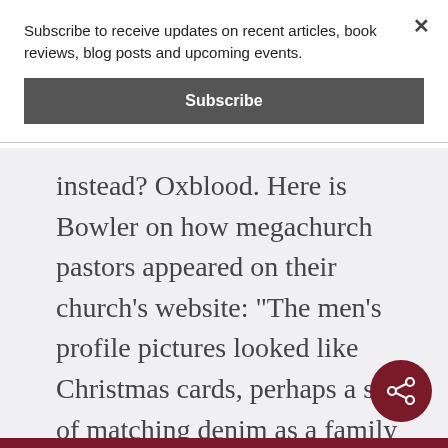Subscribe to receive updates on recent articles, book reviews, blog posts and upcoming events.
Subscribe
instead? Oxblood. Here is Bowler on how megachurch pastors appeared on their church’s website: “The men’s profile pictures looked like Christmas cards, perhaps a sea of matching denim as a family perches on a hay bale or staggered up a grand staircase dressed in red and white, grinning children tilting their faces toward the
[Figure (other): Dark red circular share button with share/network icon]